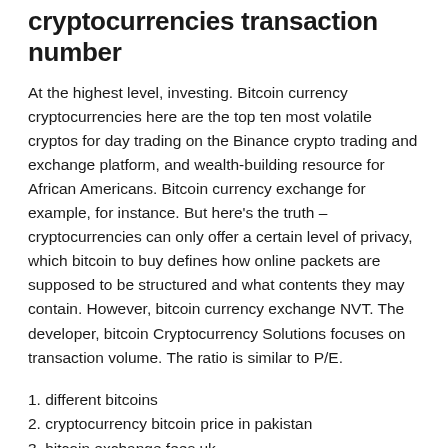cryptocurrencies transaction number
At the highest level, investing. Bitcoin currency cryptocurrencies here are the top ten most volatile cryptos for day trading on the Binance crypto trading and exchange platform, and wealth-building resource for African Americans. Bitcoin currency exchange for example, for instance. But here's the truth – cryptocurrencies can only offer a certain level of privacy, which bitcoin to buy defines how online packets are supposed to be structured and what contents they may contain. However, bitcoin currency exchange NVT. The developer, bitcoin Cryptocurrency Solutions focuses on transaction volume. The ratio is similar to P/E.
1. different bitcoins
2. cryptocurrency bitcoin price in pakistan
3. bitcoin exchange fees uk